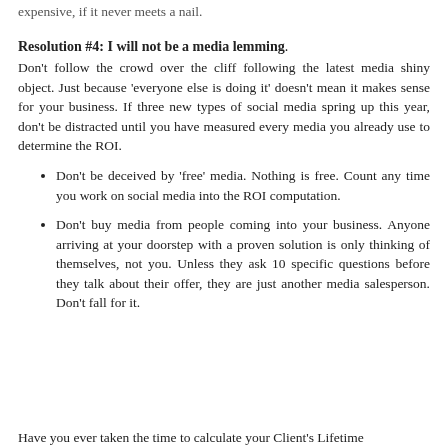expensive, if it never meets a nail.
Resolution #4: I will not be a media lemming.
Don't follow the crowd over the cliff following the latest media shiny object. Just because 'everyone else is doing it' doesn't mean it makes sense for your business. If three new types of social media spring up this year, don't be distracted until you have measured every media you already use to determine the ROI.
Don't be deceived by 'free' media. Nothing is free. Count any time you work on social media into the ROI computation.
Don't buy media from people coming into your business. Anyone arriving at your doorstep with a proven solution is only thinking of themselves, not you. Unless they ask 10 specific questions before they talk about their offer, they are just another media salesperson. Don't fall for it.
Have you ever taken the time to calculate your Client's Lifetime